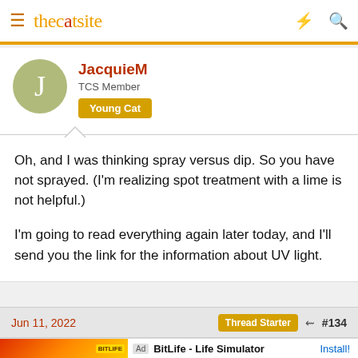thecatsite
JacquieM
TCS Member
Young Cat
Oh, and I was thinking spray versus dip. So you have not sprayed. (I'm realizing spot treatment with a lime is not helpful.)

I'm going to read everything again later today, and I'll send you the link for the information about UV light.
Jun 11, 2022  Thread Starter  #134
Ad  BitLife - Life Simulator  Install!